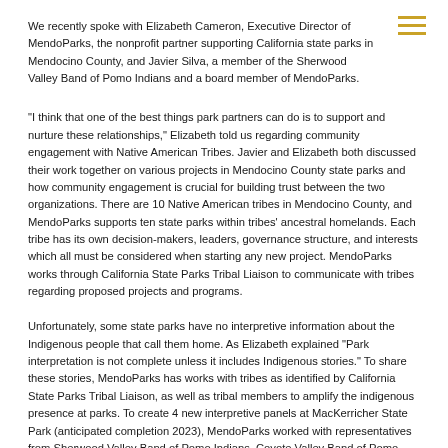[Figure (other): Hamburger menu icon with three horizontal gold/yellow lines in top-right corner]
We recently spoke with Elizabeth Cameron, Executive Director of MendoParks, the nonprofit partner supporting California state parks in Mendocino County, and Javier Silva, a member of the Sherwood Valley Band of Pomo Indians and a board member of MendoParks.
"I think that one of the best things park partners can do is to support and nurture these relationships," Elizabeth told us regarding community engagement with Native American Tribes. Javier and Elizabeth both discussed their work together on various projects in Mendocino County state parks and how community engagement is crucial for building trust between the two organizations. There are 10 Native American tribes in Mendocino County, and MendoParks supports ten state parks within tribes' ancestral homelands. Each tribe has its own decision-makers, leaders, governance structure, and interests which all must be considered when starting any new project. MendoParks works through California State Parks Tribal Liaison to communicate with tribes regarding proposed projects and programs.
Unfortunately, some state parks have no interpretive information about the Indigenous people that call them home. As Elizabeth explained "Park interpretation is not complete unless it includes Indigenous stories." To share these stories, MendoParks has works with tribes as identified by California State Parks Tribal Liaison, as well as tribal members to amplify the indigenous presence at parks. To create 4 new interpretive panels at MacKerricher State Park (anticipated completion 2023), MendoParks worked with representatives from Sherwood Valley Band of Pomo Indians, Coyote Valley Band of Pomo Indians, and Round Valley Indian Tribes. At Mendocino Headlands State Park, bathrooms were recently remodeled featuring original tile art murals by contemporary Pomo artists